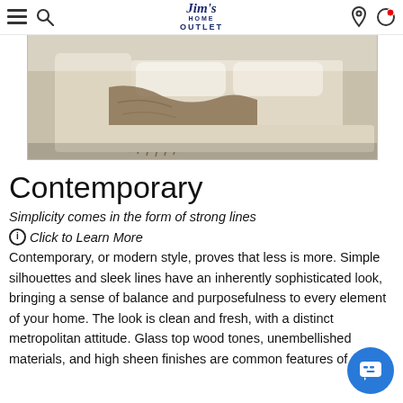Jims Home Outlet
[Figure (photo): A beige/cream upholstered bed with a draped brown knit throw blanket, shown in a contemporary bedroom setting with neutral tones.]
Contemporary
Simplicity comes in the form of strong lines
ℹ Click to Learn More
Contemporary, or modern style, proves that less is more. Simple silhouettes and sleek lines have an inherently sophisticated look, bringing a sense of balance and purposefulness to every element of your home. The look is clean and fresh, with a distinct metropolitan attitude. Glass top wood tones, unembellished materials, and high sheen finishes are common features of